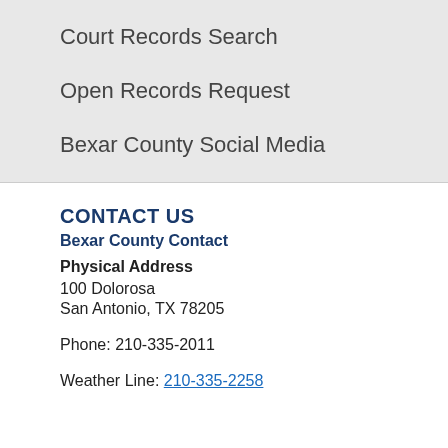Court Records Search
Open Records Request
Bexar County Social Media
CONTACT US
Bexar County Contact
Physical Address
100 Dolorosa
San Antonio, TX 78205
Phone: 210-335-2011
Weather Line: 210-335-2258